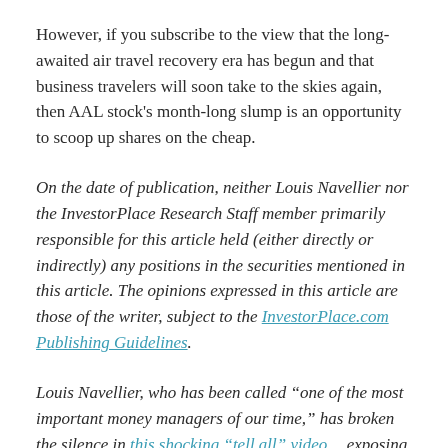However, if you subscribe to the view that the long-awaited air travel recovery era has begun and that business travelers will soon take to the skies again, then AAL stock's month-long slump is an opportunity to scoop up shares on the cheap.
On the date of publication, neither Louis Navellier nor the InvestorPlace Research Staff member primarily responsible for this article held (either directly or indirectly) any positions in the securities mentioned in this article. The opinions expressed in this article are those of the writer, subject to the InvestorPlace.com Publishing Guidelines.
Louis Navellier, who has been called “one of the most important money managers of our time,” has broken the silence in this shocking “tell all” video… exposing one of